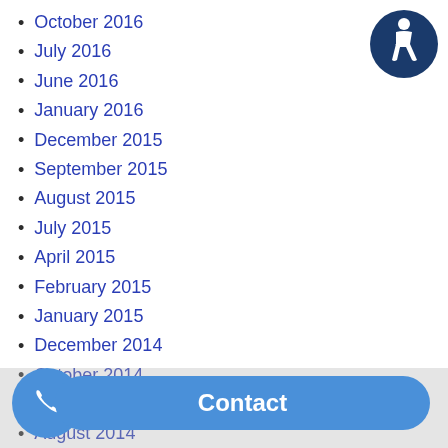October 2016
July 2016
June 2016
January 2016
December 2015
September 2015
August 2015
July 2015
April 2015
February 2015
January 2015
December 2014
October 2014
September 2014
August 2014
July 2014
April 2014
March 2014
January 2014
October 2014
December 2013
[Figure (logo): Accessibility icon — white wheelchair user figure on dark blue circle background, top right corner]
[Figure (other): Blue phone button (circle) and blue Contact pill/banner at the bottom of the page]